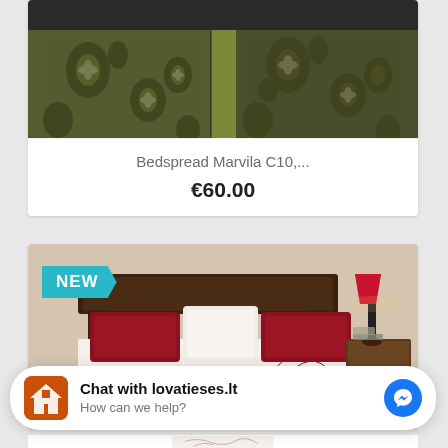[Figure (photo): Top portion of a bedspread product listing showing dark olive/green patterned fabric with floral damask print]
Bedspread Marvila C10,...
€60.00
[Figure (photo): Product photo of a white bedspread with dark red/maroon floral scroll embroidery pattern on a made bed with red pillows and lamp. Badge showing 'NEW' in cyan/teal.]
Chat with lovatieses.lt
How can we help?